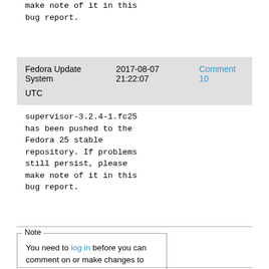make note of it in this bug report.
Fedora Update System   2017-08-07 21:22:07   Comment 10 UTC
supervisor-3.2.4-1.fc25 has been pushed to the Fedora 25 stable repository. If problems still persist, please make note of it in this bug report.
Note
You need to log in before you can comment on or make changes to this bug.